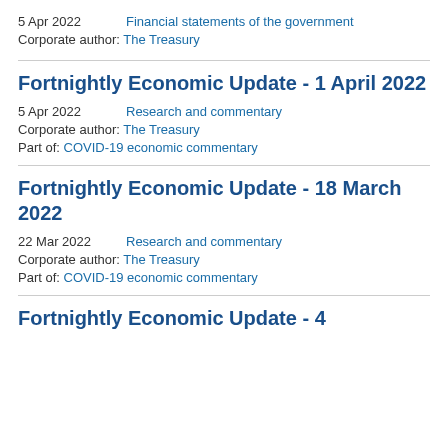5 Apr 2022    Financial statements of the government
Corporate author: The Treasury
Fortnightly Economic Update - 1 April 2022
5 Apr 2022    Research and commentary
Corporate author: The Treasury
Part of: COVID-19 economic commentary
Fortnightly Economic Update - 18 March 2022
22 Mar 2022    Research and commentary
Corporate author: The Treasury
Part of: COVID-19 economic commentary
Fortnightly Economic Update - 4